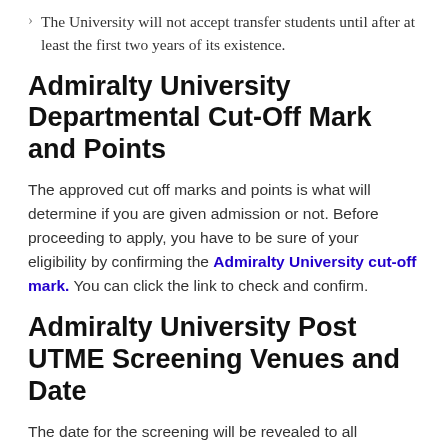The University will not accept transfer students until after at least the first two years of its existence.
Admiralty University Departmental Cut-Off Mark and Points
The approved cut off marks and points is what will determine if you are given admission or not. Before proceeding to apply, you have to be sure of your eligibility by confirming the Admiralty University cut-off mark. You can click the link to check and confirm.
Admiralty University Post UTME Screening Venues and Date
The date for the screening will be revealed to all applicants via their emails and phone numbers. The venue will be the school premises unless otherwise